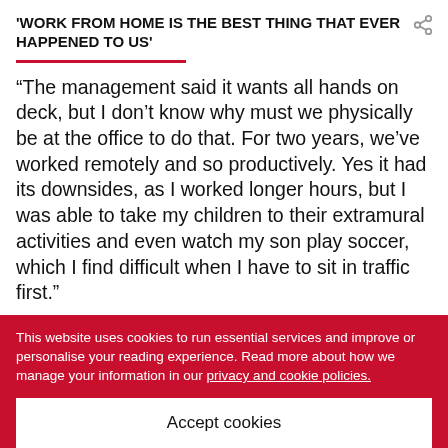'WORK FROM HOME IS THE BEST THING THAT EVER HAPPENED TO US'
“The management said it wants all hands on deck, but I don’t know why must we physically be at the office to do that. For two years, we’ve worked remotely and so productively. Yes it had its downsides, as I worked longer hours, but I was able to take my children to their extramural activities and even watch my son play soccer, which I find difficult when I have to sit in traffic first.”
Going back to the office will not only require her to fill
This website uses cookies to run essential services and improve or personalise your reading experience. Read more about how we manage your information in our privacy and cookie policies.
Accept cookies